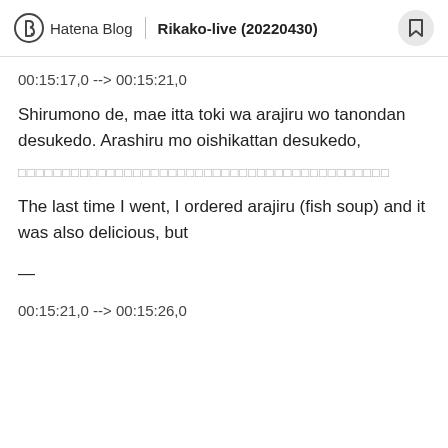Hatena Blog | Rikako-live (20220430)
00:15:17,0 --> 00:15:21,0
Shirumono de, mae itta toki wa arajiru wo tanondan desukedo. Arashiru mo oishikattan desukedo,
□□□□□□□□□□□□□□□□□□□□□□□□□□□□□□□□□□□□□□□□□□
The last time I went, I ordered arajiru (fish soup) and it was also delicious, but
—
00:15:21,0 --> 00:15:26,0